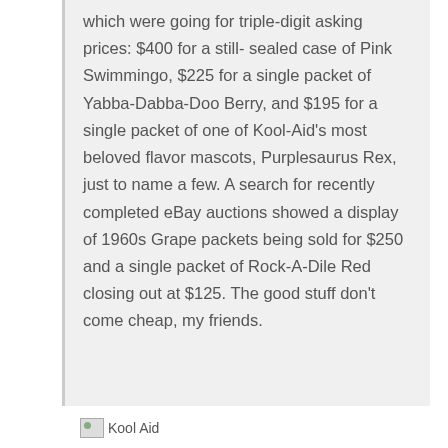which were going for triple-digit asking prices: $400 for a still- sealed case of Pink Swimmingo, $225 for a single packet of Yabba-Dabba-Doo Berry, and $195 for a single packet of one of Kool-Aid's most beloved flavor mascots, Purplesaurus Rex, just to name a few. A search for recently completed eBay auctions showed a display of 1960s Grape packets being sold for $250 and a single packet of Rock-A-Dile Red closing out at $125. The good stuff don't come cheap, my friends.
[Figure (photo): Kool Aid image placeholder with broken image icon and 'Kool Aid' label text]